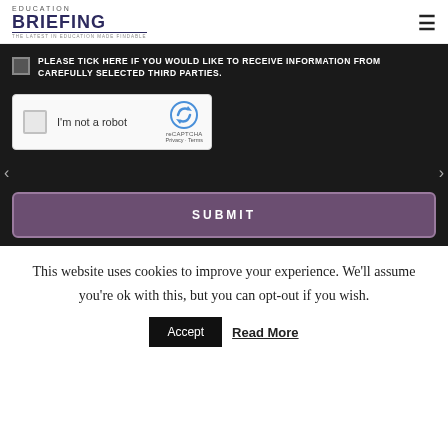EDUCATION BRIEFING - THE LATEST IN EDUCATION MADE FINDABLE
PLEASE TICK HERE IF YOU WOULD LIKE TO RECEIVE INFORMATION FROM CAREFULLY SELECTED THIRD PARTIES.
[Figure (screenshot): reCAPTCHA widget with 'I'm not a robot' checkbox, reCAPTCHA logo, Privacy and Terms links]
SUBMIT
This website uses cookies to improve your experience. We'll assume you're ok with this, but you can opt-out if you wish.
Accept   Read More